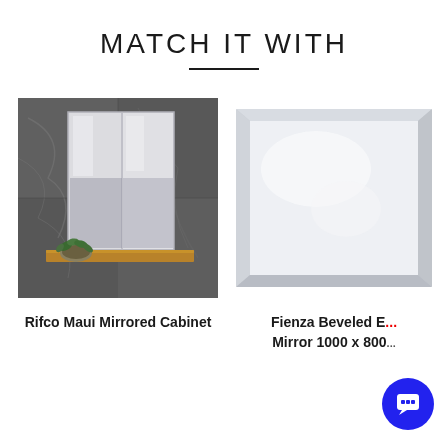MATCH IT WITH
[Figure (photo): Rifco Maui Mirrored Cabinet mounted on dark marble-tiled wall with a small plant and wooden shelf below]
[Figure (photo): Fienza Beveled Edge Mirror 1000 x 800, a rectangular frameless mirror with beveled edges on white background]
Rifco Maui Mirrored Cabinet
Fienza Beveled Edge Mirror 1000 x 800